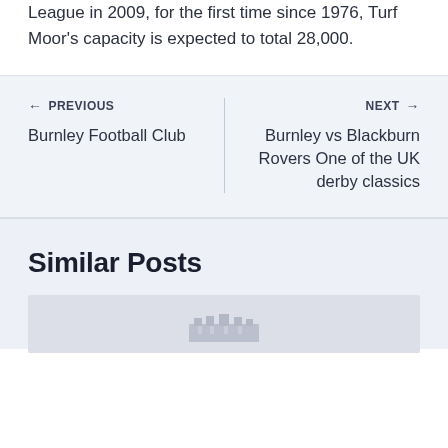following the club's promotion to the Premier League in 2009, for the first time since 1976, Turf Moor's capacity is expected to total 28,000.
← PREVIOUS
Burnley Football Club
NEXT →
Burnley vs Blackburn Rovers One of the UK derby classics
Similar Posts
[Figure (photo): Partial thumbnail image of a building, likely a football stadium, shown at the bottom of the page]